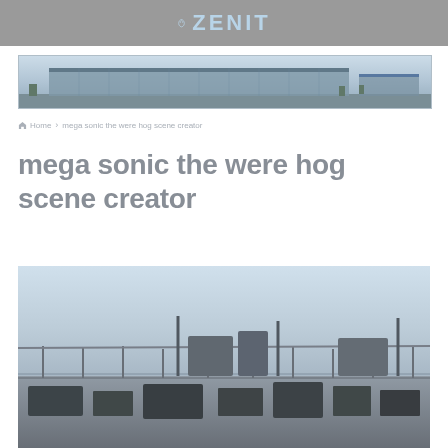ZENIT
[Figure (photo): Wide panoramic photo of a modern glass commercial building with parking in front]
Home > mega sonic the were hog scene creator
mega sonic the were hog scene creator
[Figure (photo): Photo of a rooftop or industrial area with railings, equipment and structures under an open sky]